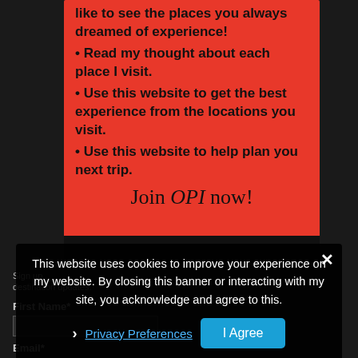like to see the places you always dreamed of experience!
• Read my thought about each place I visit.
• Use this website to get the best experience from the locations you visit.
• Use this website to help plan you next trip.
Join OPI now!
Sign up... destination updates.
First Name*
Email*
This website uses cookies to improve your experience on my website. By closing this banner or interacting with my site, you acknowledge and agree to this.
Privacy Preferences
I Agree